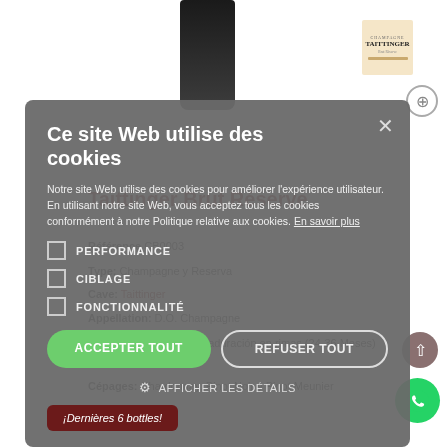[Figure (screenshot): Product page for Taittinger Brut Réserve Champagne wine, with bottle image, product details (Reference CB0003, Cave: Taittinger, Appellation: D.O. Champagne, Vieillissement, Cepages, Pays: Francia, Capacité: 75cl, Alcool: 12,00%)]
Ce site Web utilise des cookies
Notre site Web utilise des cookies pour améliorer l'expérience utilisateur. En utilisant notre site Web, vous acceptez tous les cookies conformément à notre Politique relative aux cookies. En savoir plus
PERFORMANCE
CIBLAGE
FONCTIONNALITÉ
ACCEPTER TOUT
REFUSER TOUT
AFFICHER LES DÉTAILS
¡Dernières 6 bottles!